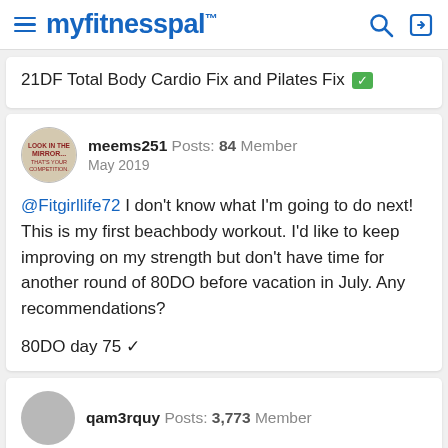myfitnesspal
21DF Total Body Cardio Fix and Pilates Fix ✅
meems251  Posts: 84  Member
May 2019
@Fitgirllife72 I don't know what I'm going to do next! This is my first beachbody workout. I'd like to keep improving on my strength but don't have time for another round of 80DO before vacation in July. Any recommendations?

80DO day 75 ✓
qam3rquy  Posts: 3,773  Member